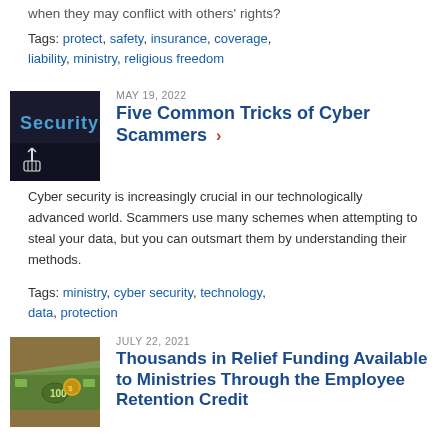when they may conflict with others' rights?
Tags: protect, safety, insurance, coverage, liability, ministry, religious freedom
MAY 19, 2022
Five Common Tricks of Cyber Scammers
[Figure (photo): Dark background with the word 'Security' in blue text and a cursor hand icon]
Cyber security is increasingly crucial in our technologically advanced world. Scammers use many schemes when attempting to steal your data, but you can outsmart them by understanding their methods.
Tags: ministry, cyber security, technology, data, protection
JULY 22, 2021
Thousands in Relief Funding Available to Ministries Through the Employee Retention Credit
[Figure (photo): Close-up of US $100 dollar bills]